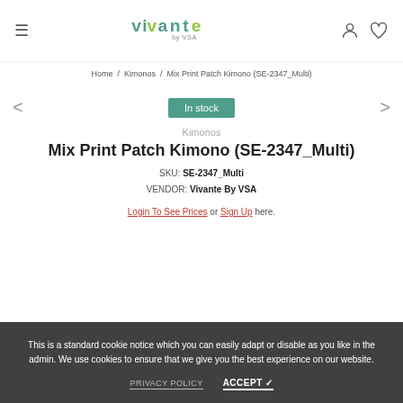Vivante by VSA
Home / Kimonos / Mix Print Patch Kimono (SE-2347_Multi)
In stock
Kimonos
Mix Print Patch Kimono (SE-2347_Multi)
SKU: SE-2347_Multi
VENDOR: Vivante By VSA
Login To See Prices or Sign Up here.
This is a standard cookie notice which you can easily adapt or disable as you like in the admin. We use cookies to ensure that we give you the best experience on our website.
PRIVACY POLICY   ACCEPT ✓